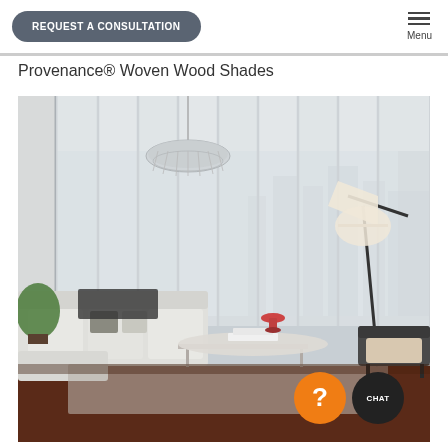REQUEST A CONSULTATION    Menu
Provenance® Woven Wood Shades
[Figure (photo): Interior living room scene showing floor-to-ceiling woven wood shades on large windows, modern furniture including a sectional sofa, coffee table, accent chair, floor lamp, and a crystal chandelier. Orange question mark button and black chat button visible in lower right corner.]